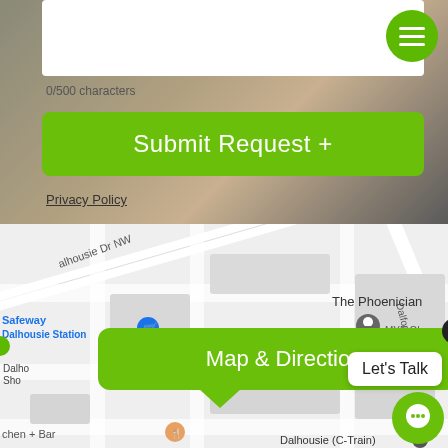0/500 characters
Submit Request +
Privacy Policy
[Figure (map): Google Maps showing The Phoenician location near Dalhousie Station, Safeway, Dalford Hill NW, with street labels including Dalhousie Dr NW and Dalhousie (C-Train)]
Map & Directions
Let's Talk